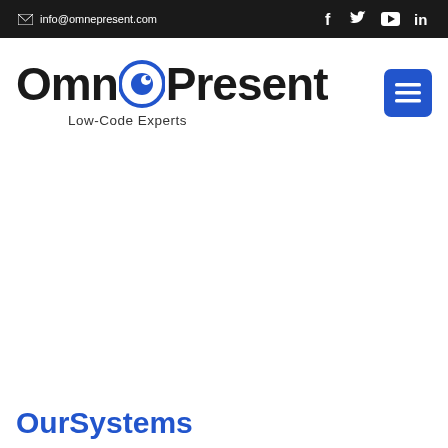info@omnepresent.com
[Figure (logo): OmnePresent Low-Code Experts logo with blue eye icon replacing the O in Omne]
OurSystems